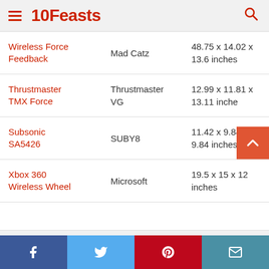10Feasts
| Product | Brand | Dimensions |
| --- | --- | --- |
| Wireless Force Feedback | Mad Catz | 48.75 x 14.02 x 13.6 inches |
| Thrustmaster TMX Force | Thrustmaster VG | 12.99 x 11.81 x 13.11 inche |
| Subsonic SA5426 | SUBY8 | 11.42 x 9.84 x 9.84 inches |
| Xbox 360 Wireless Wheel | Microsoft | 19.5 x 15 x 12 inches |
Facebook | Twitter | Pinterest | Email